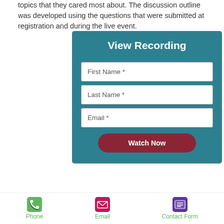topics that they cared most about. The discussion outline was developed using the questions that were submitted at registration and during the live event.
[Figure (screenshot): A web form widget on a teal background titled 'View Recording' with three text fields (First Name *, Last Name *, Email *) and a dark red 'Watch Now' button.]
Phone  Email  Contact Form